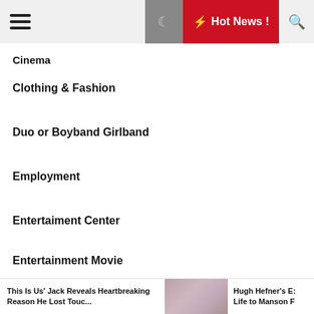Hot News !
Cinema
Clothing & Fashion
Duo or Boyband Girlband
Employment
Entertaiment Center
Entertainment Movie
Entertainment News
Entertainment Tonight
This Is Us' Jack Reveals Heartbreaking Reason He Lost Touc... | Hugh Hefner's E: Life to Manson F